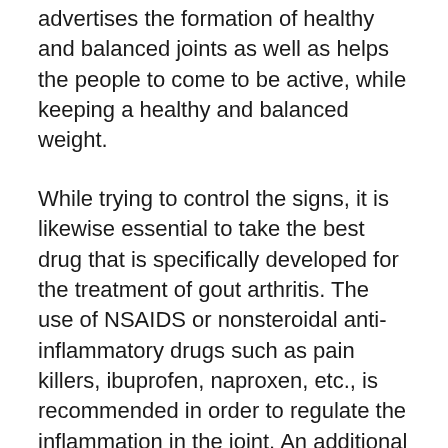advertises the formation of healthy and balanced joints as well as helps the people to come to be active, while keeping a healthy and balanced weight.
While trying to control the signs, it is likewise essential to take the best drug that is specifically developed for the treatment of gout arthritis. The use of NSAIDS or nonsteroidal anti-inflammatory drugs such as pain killers, ibuprofen, naproxen, etc., is recommended in order to regulate the inflammation in the joint. An additional choice is to take the prescription ointment or the oral tablet computer of the suggested dose of the medicine. While taking on these self-management methods it is very important to keep in mind that the gout pain